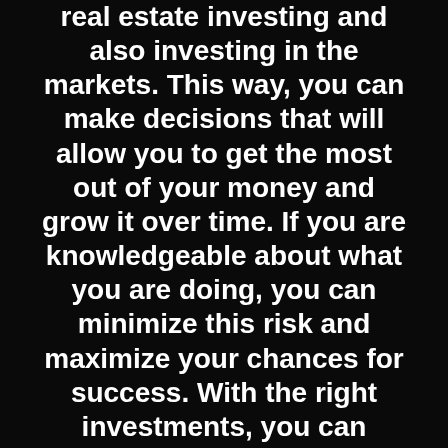real estate investing and also investing in the markets. This way, you can make decisions that will allow you to get the most out of your money and grow it over time. If you are knowledgeable about what you are doing, you can minimize this risk and maximize your chances for success. With the right investments, you can secure your financial future and live the life you want.
GET MORE INFORMATION